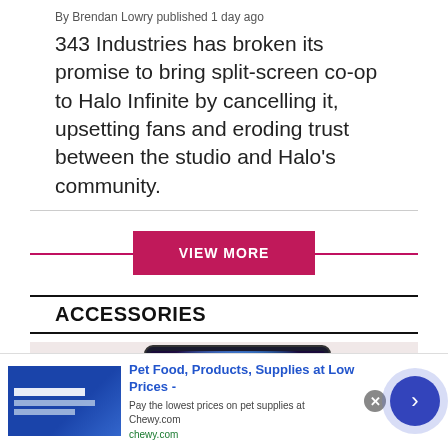By Brendan Lowry published 1 day ago
343 Industries has broken its promise to bring split-screen co-op to Halo Infinite by cancelling it, upsetting fans and eroding trust between the studio and Halo's community.
[Figure (other): VIEW MORE button with magenta/crimson background on a horizontal rule line]
ACCESSORIES
[Figure (photo): Photo of a tablet device with colorful jellyfish wallpaper propped up, next to a product box, on a light pink background]
[Figure (other): Advertisement bar: Chewy.com ad - Pet Food, Products, Supplies at Low Prices - Pay the lowest prices on pet supplies at Chewy.com]